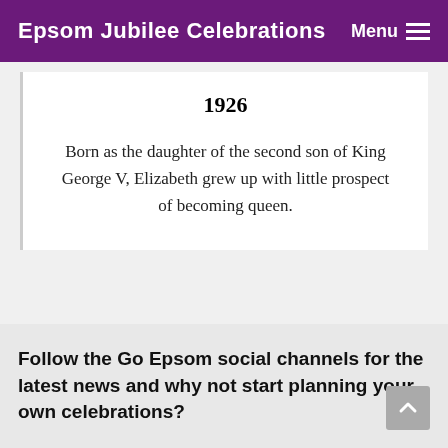Epsom Jubilee Celebrations  Menu
1926
Born as the daughter of the second son of King George V, Elizabeth grew up with little prospect of becoming queen.
Follow the Go Epsom social channels for the latest news and why not start planning your own celebrations?